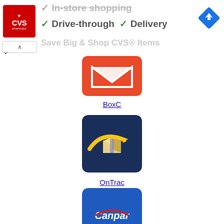[Figure (screenshot): CVS Pharmacy advertisement banner at top with checkmarks for Drive-through and Delivery services, navigation icon top right, and expand/close UI buttons]
[Figure (logo): BoxC app icon - orange/red square with white envelope/letter shape inside]
BoxC
[Figure (logo): OnTrac app icon - dark navy blue square with yellow swoosh and package logo]
OnTrac
[Figure (logo): Canpar Courier app icon - blue square with white Canpar text and red arc line]
Canpar Courier